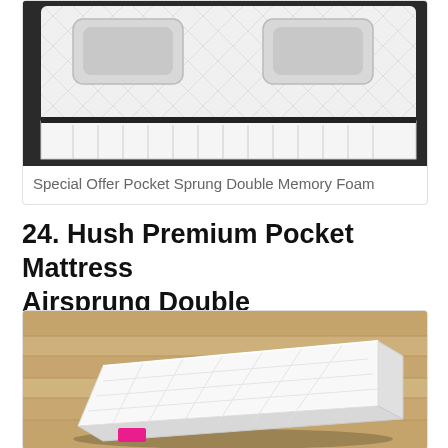[Figure (photo): Close-up photo of a pocket sprung double memory foam mattress showing quilted white top surface with two indented sections and white spring-bordered sides with dark black border trim]
Special Offer Pocket Sprung Double Memory Foam
24. Hush Premium Pocket Mattress Airsprung Double
[Figure (photo): Photo of a white quilted Hush Premium Pocket Airsprung Double mattress on a wooden floor, shown at an angle with a small pink brand label on the side]